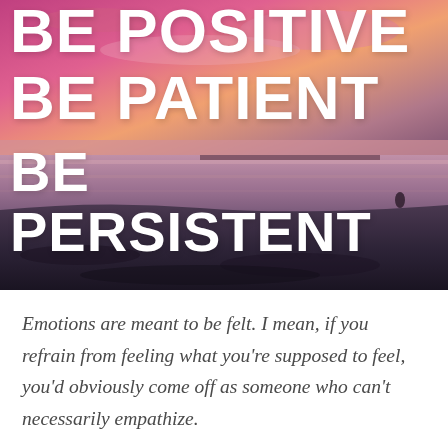[Figure (illustration): Beach sunset photo with pink and purple sky, ocean and dark sandy shore. Large bold white text overlaid reads: BE POSITIVE / BE PATIENT / BE PERSISTENT]
Emotions are meant to be felt. I mean, if you refrain from feeling what you're supposed to feel, you'd obviously come off as someone who can't necessarily empathize.